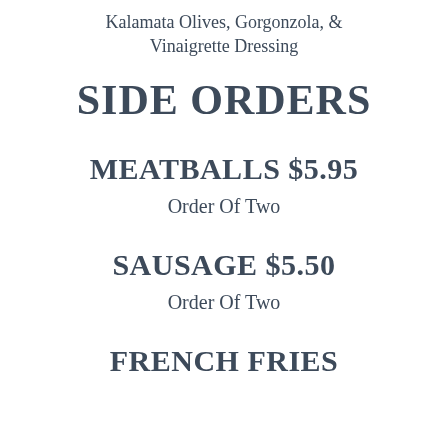Kalamata Olives, Gorgonzola, & Vinaigrette Dressing
SIDE ORDERS
MEATBALLS $5.95
Order Of Two
SAUSAGE $5.50
Order Of Two
FRENCH FRIES